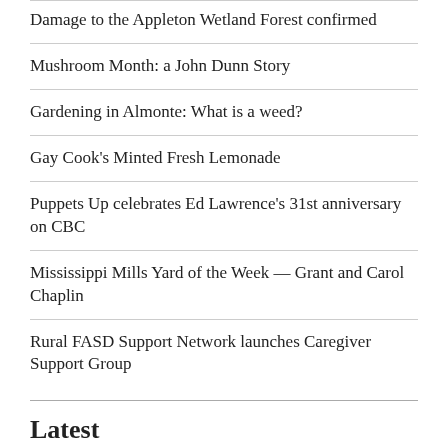Damage to the Appleton Wetland Forest confirmed
Mushroom Month: a John Dunn Story
Gardening in Almonte: What is a weed?
Gay Cook's Minted Fresh Lemonade
Puppets Up celebrates Ed Lawrence's 31st anniversary on CBC
Mississippi Mills Yard of the Week — Grant and Carol Chaplin
Rural FASD Support Network launches Caregiver Support Group
Latest